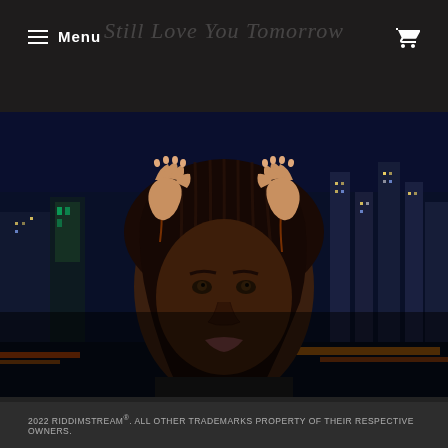Menu
[Figure (photo): A Black woman with long braided hair, hands raised to her head, against a night city skyline background]
USER REVIEWS YOU ARE NOT ALLOWED TO POST REVIEW.
2022 RIDDIMSTREAM®. ALL OTHER TRADEMARKS PROPERTY OF THEIR RESPECTIVE OWNERS.